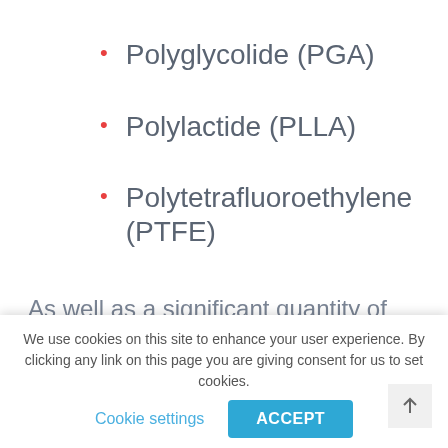Polyglycolide (PGA)
Polylactide (PLLA)
Polytetrafluoroethylene (PTFE)
As well as a significant quantity of metals and alloys including:
We use cookies on this site to enhance your user experience. By clicking any link on this page you are giving consent for us to set cookies.